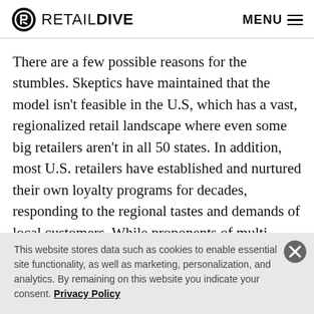RETAIL DIVE | MENU
There are a few possible reasons for the stumbles. Skeptics have maintained that the model isn't feasible in the U.S, which has a vast, regionalized retail landscape where even some big retailers aren't in all 50 states. In addition, most U.S. retailers have established and nurtured their own loyalty programs for decades, responding to the regional tastes and demands of local customers. While proponents of multi-retailer loyalty
This website stores data such as cookies to enable essential site functionality, as well as marketing, personalization, and analytics. By remaining on this website you indicate your consent. Privacy Policy